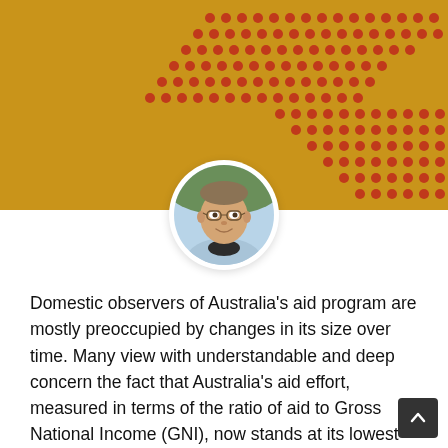[Figure (illustration): Golden/amber banner with decorative red dot pattern forming two diagonal sweeping curves. A circular portrait photo of a middle-aged man with glasses and short hair wearing a light blue shirt is centered at the bottom of the banner.]
Domestic observers of Australia's aid program are mostly preoccupied by changes in its size over time. Many view with understandable and deep concern the fact that Australia's aid effort, measured in terms of the ratio of aid to Gross National Income (GNI), now stands at its lowest level ever, 0.22%.[1]